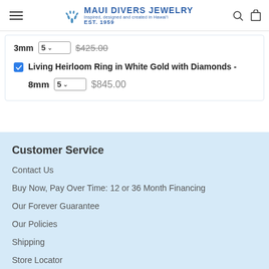Maui Divers Jewelry – Inspired, designed and created in Hawai'i EST. 1959
3mm  5  $425.00
Living Heirloom Ring in White Gold with Diamonds -
8mm  5  $845.00
Customer Service
Contact Us
Buy Now, Pay Over Time: 12 or 36 Month Financing
Our Forever Guarantee
Our Policies
Shipping
Store Locator